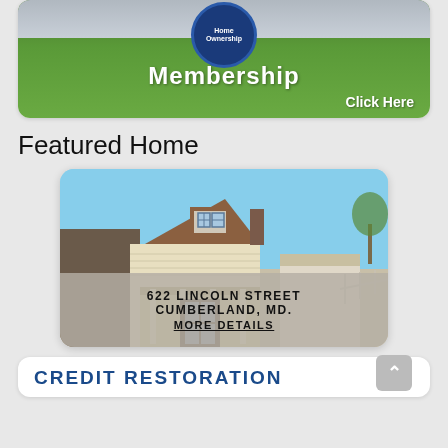[Figure (photo): Membership banner with house photo, blue badge reading 'Home Ownership', bold white text 'Membership' and 'Click Here' on green lawn background]
Featured Home
[Figure (photo): Photo of a house at 622 Lincoln Street, Cumberland, MD. Two-story home with brown roof dormer, white siding, front porch. Address overlay at bottom with 'MORE DETAILS' link.]
CREDIT RESTORATION